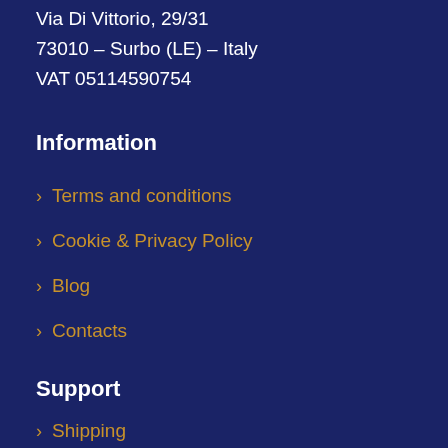Via Di Vittorio, 29/31
73010 – Surbo (LE) – Italy
VAT 05114590754
Information
Terms and conditions
Cookie & Privacy Policy
Blog
Contacts
Support
Shipping
Payment Plan